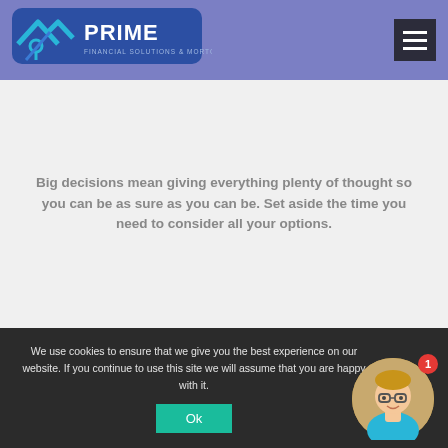[Figure (logo): Prime Financial Solutions & Mortgages Ltd logo with house/roof icon and text on blue rounded rectangle background]
[Figure (other): Hamburger menu button (three horizontal lines) on dark background]
Big decisions mean giving everything plenty of thought so you can be as sure as you can be. Set aside the time you need to consider all your options.
We use cookies to ensure that we give you the best experience on our website. If you continue to use this site we will assume that you are happy with it.
[Figure (illustration): Cartoon avatar of a person with glasses and blonde hair in a circular frame with a red notification badge showing number 1]